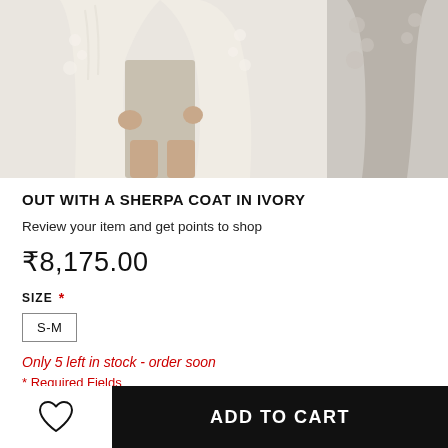[Figure (photo): Product photo of a woman wearing a sherpa coat in ivory, cropped at thigh level showing the coat's fluffy texture, with a second partial side view on the right]
OUT WITH A SHERPA COAT IN IVORY
Review your item and get points to shop
₹8,175.00
SIZE * S-M
Only 5 left in stock - order soon
* Required Fields
ADD TO CART